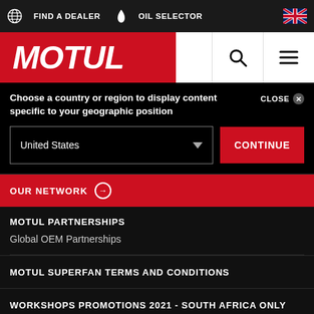FIND A DEALER | OIL SELECTOR
[Figure (logo): Motul logo in italic white bold text on red background]
Choose a country or region to display content specific to your geographic position
CLOSE
United States
CONTINUE
OUR NETWORK
MOTUL PARTNERSHIPS
Global OEM Partnerships
MOTUL SUPERFAN TERMS AND CONDITIONS
WORKSHOPS PROMOTIONS 2021 - SOUTH AFRICA ONLY